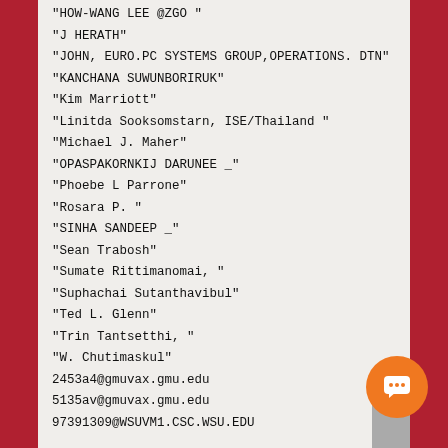"HOW-WANG LEE @ZGO  "
"J HERATH"
"JOHN, EURO.PC SYSTEMS GROUP,OPERATIONS. DTN"
"KANCHANA SUWUNBORIRUK"
"Kim Marriott"
"Linitda Sooksomstarn, ISE/Thailand  "
"Michael J. Maher"
"OPASPAKORNKIJ DARUNEE _"
"Phoebe L Parrone"
"Rosara P. "
"SINHA SANDEEP _"
"Sean Trabosh"
"Sumate Rittimanomai, "
"Suphachai Sutanthavibul"
"Ted L. Glenn"
"Trin Tantsetthi, "
"W. Chutimaskul"
2453a4@gmuvax.gmu.edu
5135av@gmuvax.gmu.edu
97391309@WSUVM1.CSC.WSU.EDU